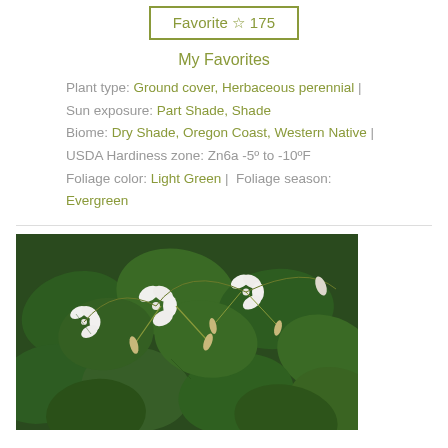Favorite ☆ 175
My Favorites
Plant type: Ground cover, Herbaceous perennial | Sun exposure: Part Shade, Shade Biome: Dry Shade, Oregon Coast, Western Native | USDA Hardiness zone: Zn6a -5° to -10°F Foliage color: Light Green | Foliage season: Evergreen
[Figure (photo): Plant photo showing green heart-shaped leaves with small white flowers having drooping petals and elongated seed pods on arching stems]